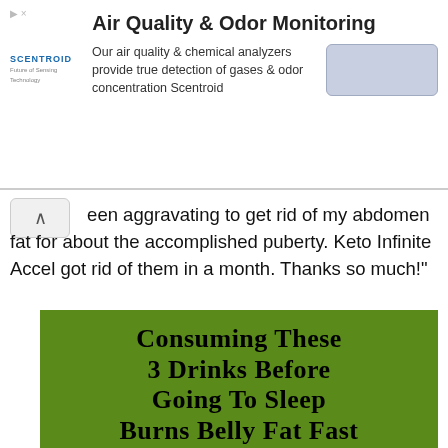[Figure (infographic): Scentroid advertisement banner with title 'Air Quality & Odor Monitoring', logo, description text about air quality chemical analyzers, and a button placeholder]
een aggravating to get rid of my abdomen fat for about the accomplished puberty. Keto Infinite Accel got rid of them in a month. Thanks so much!"
[Figure (infographic): Green infographic with bold serif black text reading 'Consuming These 3 Drinks Before Going To Sleep Burns Belly Fat Fast', with a recipe section listing blend ingredients (1 lemon, 1 cucumber, 1 tbs grated ginger, 1 tbs of aloe vera) and a photo of a green drink with mint and lemon]